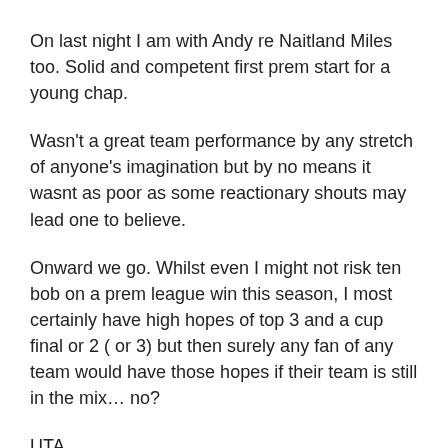On last night I am with Andy re Naitland Miles too. Solid and competent first prem start for a young chap.
Wasn't a great team performance by any stretch of anyone's imagination but by no means it wasnt as poor as some reactionary shouts may lead one to believe.
Onward we go. Whilst even I might not risk ten bob on a prem league win this season, I most certainly have high hopes of top 3 and a cup final or 2 ( or 3) but then surely any fan of any team would have those hopes if their team is still in the mix… no?
UTA